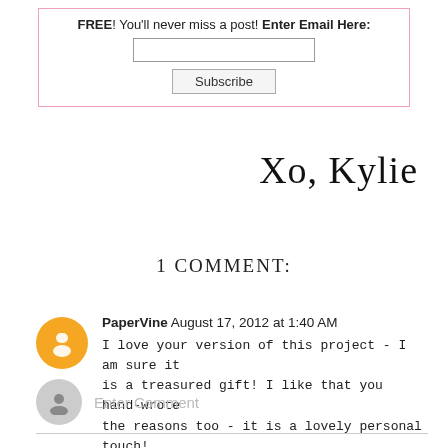FREE! You'll never miss a post! Enter Email Here: [email input] [Subscribe button]
[Figure (illustration): Cursive signature reading 'Xo, Kylie']
1 COMMENT:
PaperVine August 17, 2012 at 1:40 AM
I love your version of this project - I am sure it is a treasured gift! I like that you hand-wrote the reasons too - it is a lovely personal touch!
Reply
Enter Comment